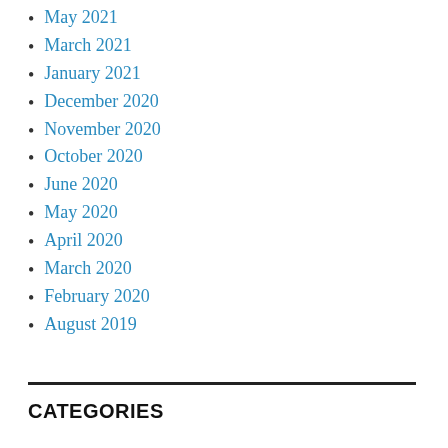May 2021
March 2021
January 2021
December 2020
November 2020
October 2020
June 2020
May 2020
April 2020
March 2020
February 2020
August 2019
CATEGORIES